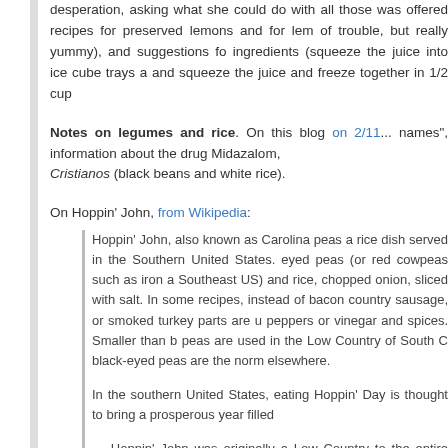desperation, asking what she could do with all those lemons. She was offered recipes for preserved lemons and for lemonade (lots of trouble, but really yummy), and suggestions for freezing ingredients (squeeze the juice into ice cube trays and freeze it, and squeeze the juice and freeze together in 1/2 cup measures).
Notes on legumes and rice. On this blog on 2/11... names", information about the drug Midazalom, ... Cristianos (black beans and white rice).
On Hoppin’ John, from Wikipedia:
Hoppin’ John, also known as Carolina peas and rice dish served in the Southern United States. eyed peas (or red cowpeas such as iron and Southeast US) and rice, chopped onion, sliced with salt. In some recipes, instead of bacon country sausage, or smoked turkey parts are used. peppers or vinegar and spices. Smaller than black peas are used in the Low Country of South Carolina black-eyed peas are the norm elsewhere.
In the southern United States, eating Hoppin’ Day is thought to bring a prosperous year filled
… Hoppin’ John was originally a Low Country to the entire population of the South. Hoppin’ John from rice and bean mixtures that were the sub